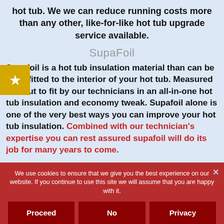hot tub. We we can reduce running costs more than any other, like-for-like hot tub upgrade service available.
SupaFoil
Supafoil is a hot tub insulation material than can be retro-fitted to the interior of your hot tub. Measured and cut to fit by our technicians in an all-in-one hot tub insulation and economy tweak. Supafoil alone is one of the very best ways you can improve your hot tub insulation. Combined with our technician's expertise you can rest assured supafoil will do its job for many years to come.
We use cookies to ensure that we give you the best experience on our website. If you continue to use this site we will assume that you are happy with it.
Proceed | No | Privacy